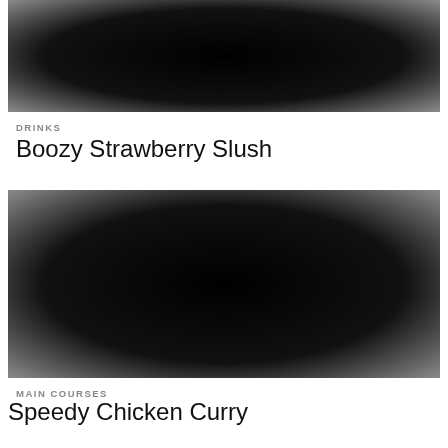[Figure (photo): Dark blurred food/drink photo for Boozy Strawberry Slush]
DRINKS
Boozy Strawberry Slush
[Figure (photo): Dark blurred food photo for Speedy Chicken Curry]
MAIN COURSES
Speedy Chicken Curry
[Figure (photo): Dark blurred food photo for Homemade Pizza Rolls]
MAIN COURSES
Homemade Pizza Rolls
[Figure (photo): Dark blurred food photo partially visible at bottom]